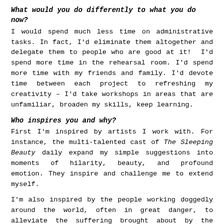What would you do differently to what you do now?
I would spend much less time on administrative tasks. In fact, I'd eliminate them altogether and delegate them to people who are good at it!  I'd spend more time in the rehearsal room. I'd spend more time with my friends and family. I'd devote time between each project to refreshing my creativity – I'd take workshops in areas that are unfamiliar, broaden my skills, keep learning.
Who inspires you and why?
First I'm inspired by artists I work with. For instance, the multi-talented cast of The Sleeping Beauty daily expand my simple suggestions into moments of hilarity, beauty, and profound emotion. They inspire and challenge me to extend myself.
I'm also inspired by the people working doggedly around the world, often in great danger, to alleviate the suffering brought about by the current wars in the Middle East and Africa. I'm inspired by the people willing to stand up to Donald Trump. I'm inspired by the scientists struggling to avert the environmental crisis now confronting mankind.